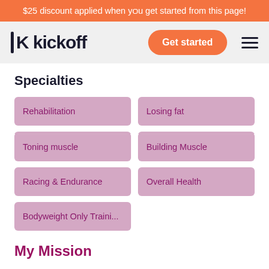$25 discount applied when you get started from this page!
[Figure (logo): Kickoff logo with vertical bar and text 'kickoff', plus Get started button and hamburger menu]
Specialties
Rehabilitation
Losing fat
Toning muscle
Building Muscle
Racing & Endurance
Overall Health
Bodyweight Only Traini...
My Mission